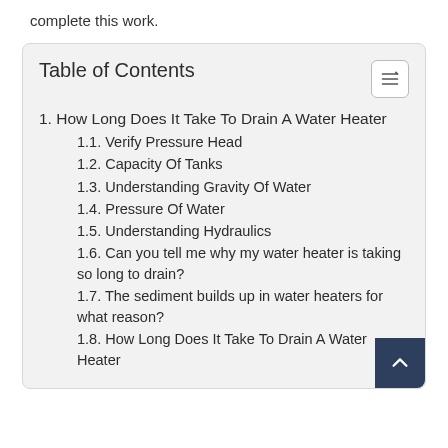complete this work.
Table of Contents
1. How Long Does It Take To Drain A Water Heater
1.1. Verify Pressure Head
1.2. Capacity Of Tanks
1.3. Understanding Gravity Of Water
1.4. Pressure Of Water
1.5. Understanding Hydraulics
1.6. Can you tell me why my water heater is taking so long to drain?
1.7. The sediment builds up in water heaters for what reason?
1.8. How Long Does It Take To Drain A Water Heater